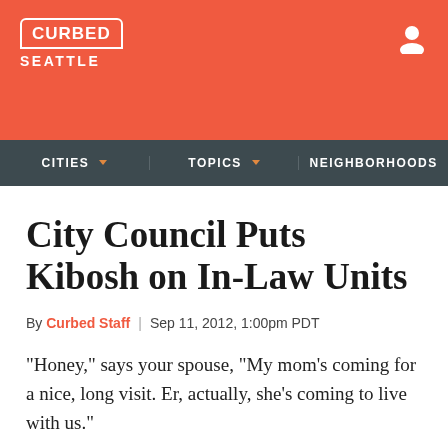CURBED SEATTLE
CITIES | TOPICS | NEIGHBORHOODS
City Council Puts Kibosh on In-Law Units
By Curbed Staff | Sep 11, 2012, 1:00pm PDT
"Honey," says your spouse, "My mom's coming for a nice, long visit. Er, actually, she's coming to live with us."
"Good thing we have that mother-in-law apartment in the basement," you say, already imagining the worst.